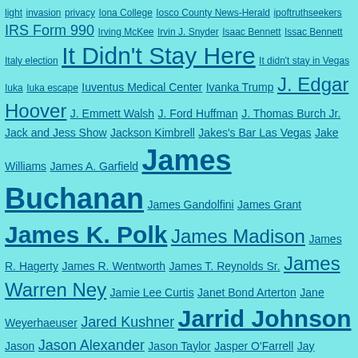light invasion privacy Iona College Iosco County News-Herald ipoftruthseekers IRS Form 990 Irving McKee Irvin J. Snyder Isaac Bennett Issac Bennett Italy election It Didn't Stay Here It didn't stay in Vegas Iuka Iuka escape Iuventus Medical Center Ivanka Trump J. Edgar Hoover J. Emmett Walsh J. Ford Huffman J. Thomas Burch Jr. Jack and Jess Show Jackson Kimbrell Jakes's Bar Las Vegas Jake Williams James A. Garfield James Buchanan James Gandolfini James Grant James K. Polk James Madison James R. Hagerty James R. Wentworth James T. Reynolds Sr. James Warren Ney Jamie Lee Curtis Janet Bond Arterton Jane Weyerhaeuser Jared Kushner Jarrid Johnson Jason Jason Alexander Jason Taylor Jasper O'Farrell Jay Chaudhry Jay Johnson Jeff Bezos Jeff Davis Peak Jefferson Davis Jeff Henderson Jennifer Corneal Jennifer Estencion Jennifer Lawrence Jennifer Lopez Jeremy Kevitt Jeremy Reichberg Jermey Renner Jessie Benton Fremont Jesus Jara Jimmy Duranty Jimmy Hoffa Jim Ragsdale Jim Walsh JOA Joan Collings Joan Collins Joan Franzello Joanna Woodward Joanne Harrison Jo Collins Joe Lombardo Joe Pesci Joe Schoenmann John C. Frémont John Ciardi John Elroy Sanford John Ensign John Frankie Carbo John J. Lee John L. Smith joint operating agreement Jo Jorgensen Jona Rechnitz Jonathan Hamm Jon Ralston Joseph Lombardo Joseph McKenna Joseph R Biden Jr Josh Hawley Joyce Emmons Judy Garland Judy Lott Jula Connatser Justin Andersch Karen Bennett-Haron